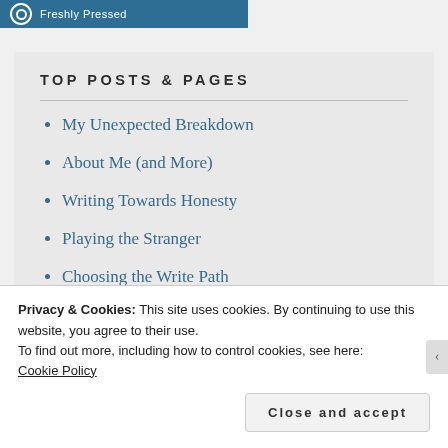[Figure (screenshot): Blue banner with circle icon and 'Freshly Pressed' text]
TOP POSTS & PAGES
My Unexpected Breakdown
About Me (and More)
Writing Towards Honesty
Playing the Stranger
Choosing the Write Path
Privacy & Cookies: This site uses cookies. By continuing to use this website, you agree to their use.
To find out more, including how to control cookies, see here:
Cookie Policy
Close and accept